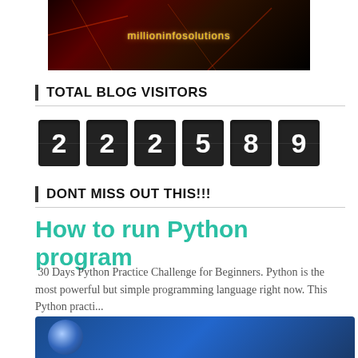[Figure (screenshot): Dark banner image with text 'millioninfosolutions' in golden/yellow letters over a dark reddish-black background with light streaks]
TOTAL BLOG VISITORS
[Figure (infographic): Visitor counter showing digits 2 2 2 5 8 9 on dark flip-counter style tiles]
DONT MISS OUT THIS!!!
How to run Python program
30 Days Python Practice Challenge for Beginners. Python is the most powerful but simple programming language right now. This Python practi...
[Figure (screenshot): Bottom portion of a blue-themed image with a circular element visible at the bottom of the page]